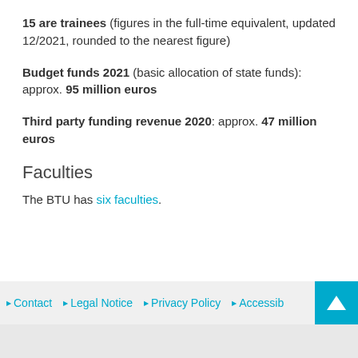15 are trainees (figures in the full-time equivalent, updated 12/2021, rounded to the nearest figure)
Budget funds 2021 (basic allocation of state funds): approx. 95 million euros
Third party funding revenue 2020: approx. 47 million euros
Faculties
The BTU has six faculties.
Contact  Legal Notice  Privacy Policy  Accessibility